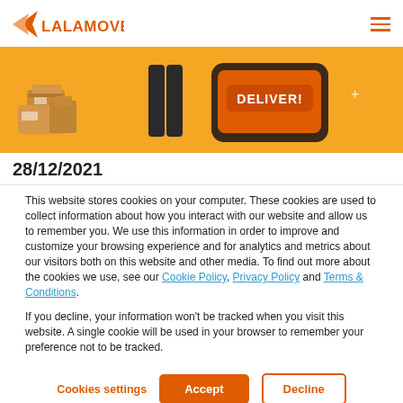LALAMOVE
[Figure (illustration): Orange banner with delivery illustration showing boxes and a smartphone with 'DELIVER!' button and a person]
28/12/2021
This website stores cookies on your computer. These cookies are used to collect information about how you interact with our website and allow us to remember you. We use this information in order to improve and customize your browsing experience and for analytics and metrics about our visitors both on this website and other media. To find out more about the cookies we use, see our Cookie Policy, Privacy Policy and Terms & Conditions.
If you decline, your information won't be tracked when you visit this website. A single cookie will be used in your browser to remember your preference not to be tracked.
Cookies settings  Accept  Decline